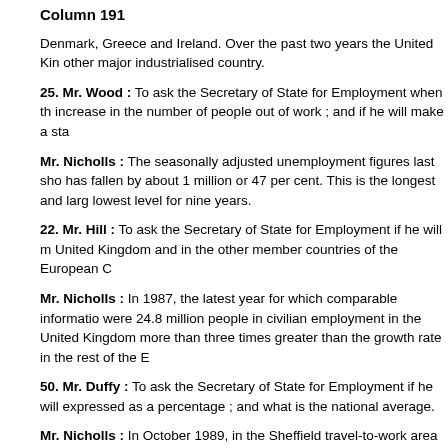Column 191
Denmark, Greece and Ireland. Over the past two years the United Kin other major industrialised country.
25. Mr. Wood : To ask the Secretary of State for Employment when th increase in the number of people out of work ; and if he will make a st
Mr. Nicholls : The seasonally adjusted unemployment figures last sho has fallen by about 1 million or 47 per cent. This is the longest and lar lowest level for nine years.
22. Mr. Hill : To ask the Secretary of State for Employment if he will m United Kingdom and in the other member countries of the European C
Mr. Nicholls : In 1987, the latest year for which comparable informatio were 24.8 million people in civilian employment in the United Kingdom more than three times greater than the growth rate in the rest of the E
50. Mr. Duffy : To ask the Secretary of State for Employment if he will expressed as a percentage ; and what is the national average.
Mr. Nicholls : In October 1989, in the Sheffield travel-to-work area the of the total workforce was 8.6 per cent. This compares to a rate of 5.8
51. Mr. Alton : To ask the Secretary of State for Employment how ma work area.
Mr. Nicholls : In October 1989, in the Liverpool travel-to-work area the
52. Mr. Dunn : To ask the Secretary of State for Employment whether per cent. or less unemployment ; and if he will make a statement.